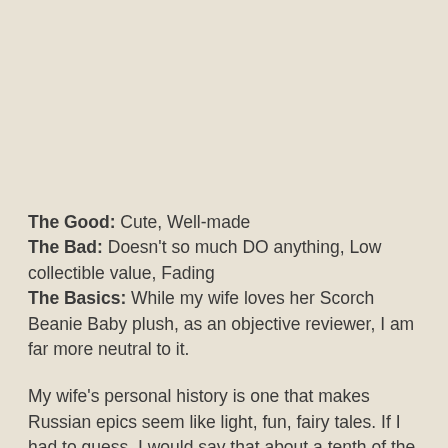The Good: Cute, Well-made
The Bad: Doesn't so much DO anything, Low collectible value, Fading
The Basics: While my wife loves her Scorch Beanie Baby plush, as an objective reviewer, I am far more neutral to it.
My wife's personal history is one that makes Russian epics seem like light, fun, fairy tales. If I had to guess, I would say that about a tenth of the gifts I have given her have been an attempt to restore to her something she lost as a child. As it turns out, she once had quite the collection of Beanie Babies, which were sold out from under her, despite the fact